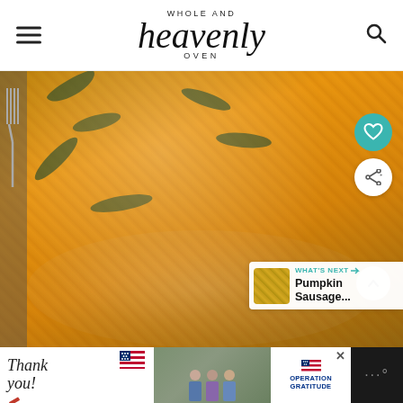Whole and Heavenly Oven
[Figure (photo): Close-up photo of pumpkin gnocchi on a white plate, topped with fried sage leaves and grated parmesan cheese. A fork is visible on the left side. Overlay buttons include a teal heart icon, a white share icon, and a scroll-up arrow. A 'What's Next' panel shows a thumbnail and text reading 'Pumpkin Sausage...']
[Figure (photo): Advertisement banner at the bottom: 'Thank you!' handwritten text with US flag on left, photo of people wearing masks holding boxes in the middle, and 'Operation Gratitude' logo on the right. Dark side panel on far right.]